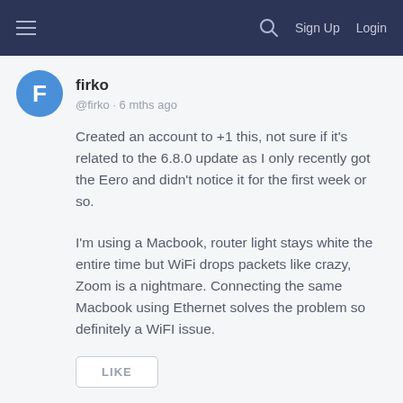≡  🔍  Sign Up  Login
firko
@firko · 6 mths ago
Created an account to +1 this, not sure if it's related to the 6.8.0 update as I only recently got the Eero and didn't notice it for the first week or so.
I'm using a Macbook, router light stays white the entire time but WiFi drops packets like crazy, Zoom is a nightmare. Connecting the same Macbook using Ethernet solves the problem so definitely a WiFI issue.
LIKE